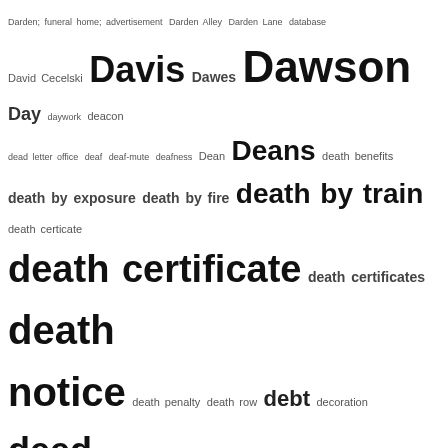[Figure (other): Tag cloud / word cloud listing genealogical and historical research index terms beginning with letters D, starting from Darden through domestic work, with varying font sizes indicating frequency or importance.]